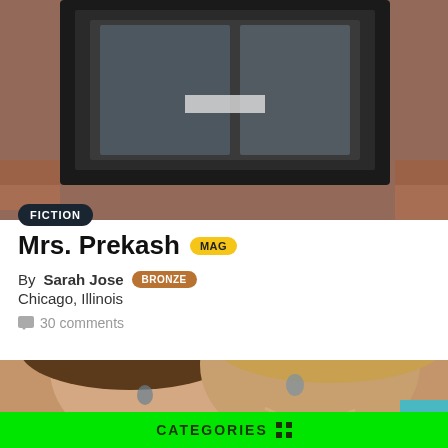[Figure (photo): Close-up photo of a black picture frame on a brick wall background]
FICTION
Mrs. Prekash MAG
By Sarah Jose BRONZE
Chicago, Illinois
30 comments
[Figure (photo): Two young girls smiling closely together, one with brown hair and one with blonde hair]
CATEGORIES